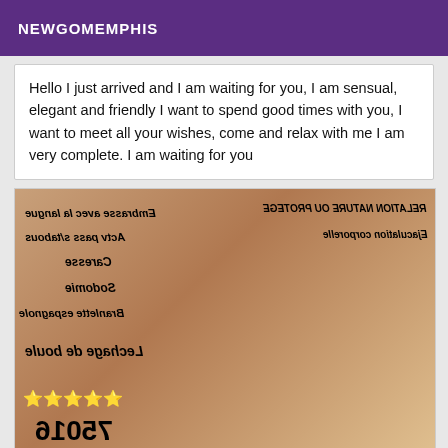NEWGOMEMPHIS
Hello I just arrived and I am waiting for you, I am sensual, elegant and friendly I want to spend good times with you, I want to meet all your wishes, come and relax with me I am very complete. I am waiting for you
[Figure (photo): Photo of a woman with text overlays in mirrored/flipped orientation including French words: Embrasse avec la langue, Actv pass s/tabous, Caresse, Sodomie, Branlette espagnole, Lechage de boule, Ejaculation corporelle, Relation nature ou protege, and the number 75016 with star ratings]